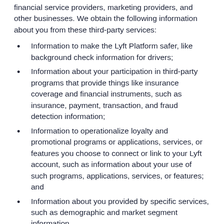financial service providers, marketing providers, and other businesses. We obtain the following information about you from these third-party services:
Information to make the Lyft Platform safer, like background check information for drivers;
Information about your participation in third-party programs that provide things like insurance coverage and financial instruments, such as insurance, payment, transaction, and fraud detection information;
Information to operationalize loyalty and promotional programs or applications, services, or features you choose to connect or link to your Lyft account, such as information about your use of such programs, applications, services, or features; and
Information about you provided by specific services, such as demographic and market segment information.